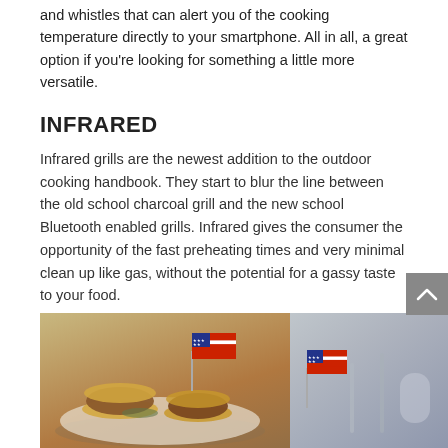and whistles that can alert you of the cooking temperature directly to your smartphone. All in all, a great option if you're looking for something a little more versatile.
INFRARED
Infrared grills are the newest addition to the outdoor cooking handbook. They start to blur the line between the old school charcoal grill and the new school Bluetooth enabled grills. Infrared gives the consumer the opportunity of the fast preheating times and very minimal clean up like gas, without the potential for a gassy taste to your food.
Infrared grills also have very limited flare ups, so you can be comfortable with it holding to the temperature and cook times that you set out to create.
[Figure (photo): Photo of mini burgers/sliders on a plate decorated with small American flag toothpicks, with a blurred background showing cutlery and a blue surface.]